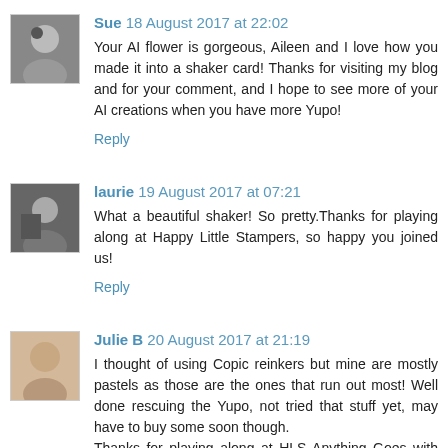Sue 18 August 2017 at 22:02
Your AI flower is gorgeous, Aileen and I love how you made it into a shaker card! Thanks for visiting my blog and for your comment, and I hope to see more of your AI creations when you have more Yupo!
Reply
laurie 19 August 2017 at 07:21
What a beautiful shaker! So pretty.Thanks for playing along at Happy Little Stampers, so happy you joined us!
Reply
Julie B 20 August 2017 at 21:19
I thought of using Copic reinkers but mine are mostly pastels as those are the ones that run out most! Well done rescuing the Yupo, not tried that stuff yet, may have to buy some soon though.
Thanks for playing along at HLS Anything Goes with Dies.